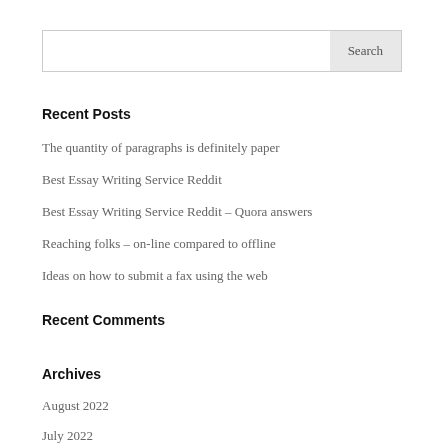Search
Recent Posts
The quantity of paragraphs is definitely paper
Best Essay Writing Service Reddit
Best Essay Writing Service Reddit – Quora answers
Reaching folks – on-line compared to offline
Ideas on how to submit a fax using the web
Recent Comments
Archives
August 2022
July 2022